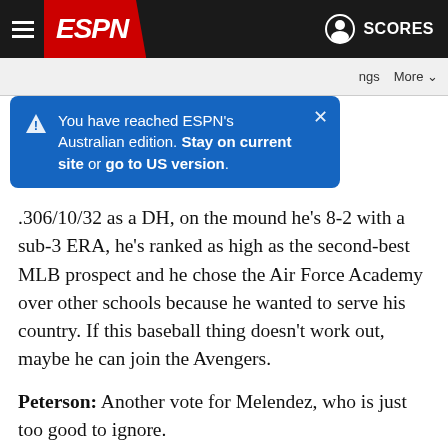ESPN navigation bar with hamburger menu, ESPN logo, person icon, SCORES
[Figure (screenshot): ESPN blue tooltip popup: 'You have reached ESPN's Australian edition. Stay on current site or go to US version.']
.306/10/32 as a DH, on the mound he's 8-2 with a sub-3 ERA, he's ranked as high as the second-best MLB prospect and he chose the Air Force Academy over other schools because he wanted to serve his country. If this baseball thing doesn't work out, maybe he can join the Avengers.
Peterson: Another vote for Melendez, who is just too good to ignore.
What sleeper team do you think can make some noise in Omaha?
Rooney: Gonzaga. The Zags have one of the best rotations in the country with Gabe Hughes, William Kempner and Trystan